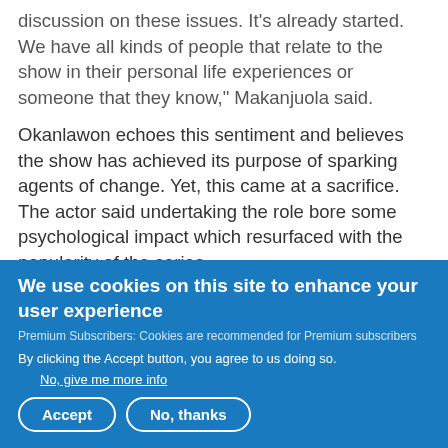discussion on these issues. It’s already started. We have all kinds of people that relate to the show in their personal life experiences or someone that they know,” Makanjuola said.
Okanlawon echoes this sentiment and believes the show has achieved its purpose of sparking agents of change. Yet, this came at a sacrifice. The actor said undertaking the role bore some psychological impact which resurfaced with the popularity of the series.
We use cookies on this site to enhance your user experience
Premium Subscribers: Cookies are recommended for Premium subscribers
By clicking the Accept button, you agree to us doing so.
No, give me more info
Accept
No, thanks